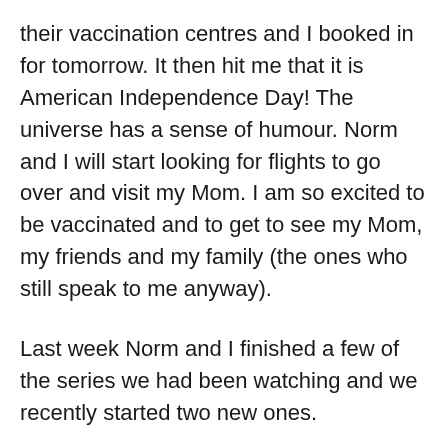their vaccination centres and I booked in for tomorrow. It then hit me that it is American Independence Day! The universe has a sense of humour. Norm and I will start looking for flights to go over and visit my Mom. I am so excited to be vaccinated and to get to see my Mom, my friends and my family (the ones who still speak to me anyway).
Last week Norm and I finished a few of the series we had been watching and we recently started two new ones.
We have watched a few episodes of 'Panic'. It takes place in a small Texas town, where every